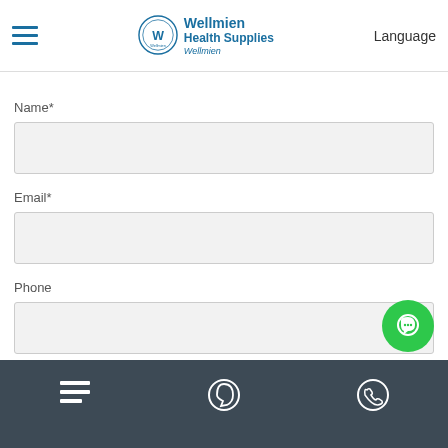Wellmien Health Supplies | Language
Name*
Email*
Phone
M
Navigation bar with menu, WhatsApp, and phone icons